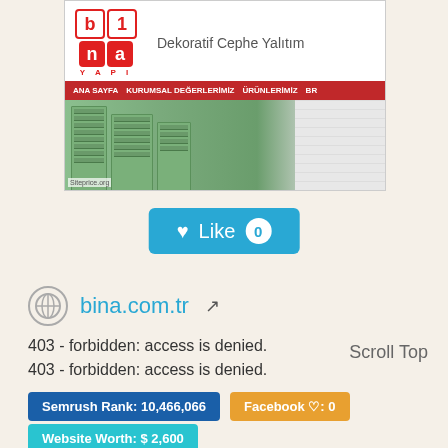[Figure (screenshot): Screenshot of bina.com.tr website showing logo, navigation bar, and building facade imagery]
[Figure (other): Like button with heart icon showing count of 0]
bina.com.tr (with globe icon and external link icon)
403 - forbidden: access is denied.
403 - forbidden: access is denied.
Scroll Top
Semrush Rank: 10,466,066
Facebook ♡: 0
Website Worth: $ 2,600
Categories: Business, Business